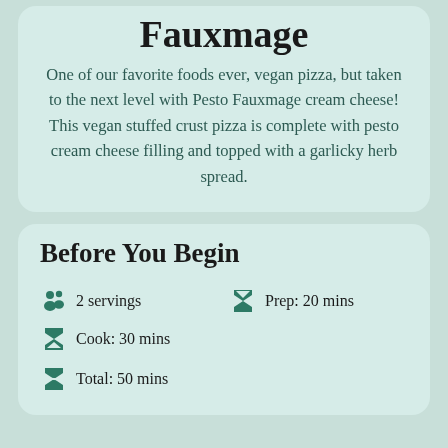Fauxmage
One of our favorite foods ever, vegan pizza, but taken to the next level with Pesto Fauxmage cream cheese! This vegan stuffed crust pizza is complete with pesto cream cheese filling and topped with a garlicky herb spread.
Before You Begin
2 servings
Prep: 20 mins
Cook: 30 mins
Total: 50 mins